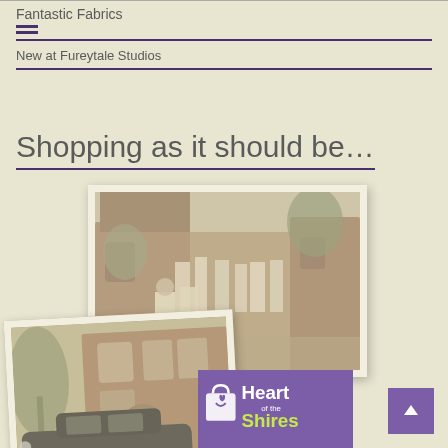Fantastic Fabrics
New at Fureytale Studios
Shopping as it should be…
[Figure (photo): Outdoor scene with people in white Morris dancing costumes in a courtyard of brick buildings, with trees in background]
[Figure (photo): Vintage black car parked in front of a brick building]
[Figure (logo): Heart of the Shires logo on purple background with shopping bag icon]